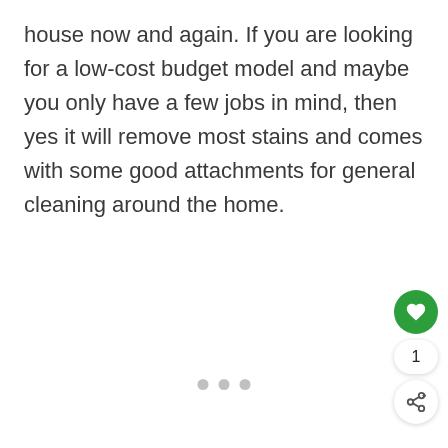house now and again. If you are looking for a low-cost budget model and maybe you only have a few jobs in mind, then yes it will remove most stains and comes with some good attachments for general cleaning around the home.
[Figure (other): UI elements: a green circular heart/like button, a like count showing '1', and a circular share button with a share icon]
[Figure (other): Three grey dots in a row indicating pagination or slide indicator]